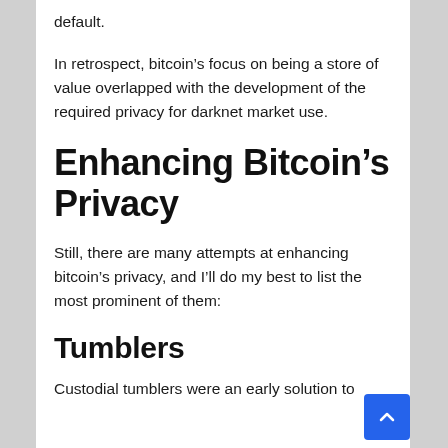default.
In retrospect, bitcoin’s focus on being a store of value overlapped with the development of the required privacy for darknet market use.
Enhancing Bitcoin’s Privacy
Still, there are many attempts at enhancing bitcoin’s privacy, and I’ll do my best to list the most prominent of them:
Tumblers
Custodial tumblers were an early solution to